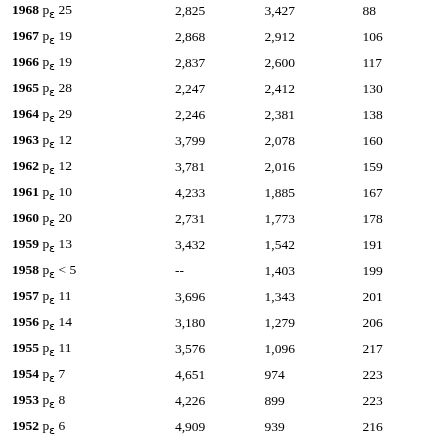| Year | Col2 | Col3 | Col4 |
| --- | --- | --- | --- |
| 1968 p₁ 25 | 2,825 | 3,427 | 88 |
| 1967 p₁ 19 | 2,868 | 2,912 | 106 |
| 1966 p₁ 19 | 2,837 | 2,600 | 117 |
| 1965 p₁ 28 | 2,247 | 2,412 | 130 |
| 1964 p₁ 29 | 2,246 | 2,381 | 138 |
| 1963 p₁ 12 | 3,799 | 2,078 | 160 |
| 1962 p₁ 12 | 3,781 | 2,016 | 159 |
| 1961 p₁ 10 | 4,233 | 1,885 | 167 |
| 1960 p₁ 20 | 2,731 | 1,773 | 178 |
| 1959 p₁ 13 | 3,432 | 1,542 | 191 |
| 1958 p₁ < 5 | -- | 1,403 | 199 |
| 1957 p₁ 11 | 3,696 | 1,343 | 201 |
| 1956 p₁ 14 | 3,180 | 1,279 | 206 |
| 1955 p₁ 11 | 3,576 | 1,096 | 217 |
| 1954 p₁ 7 | 4,651 | 974 | 223 |
| 1953 p₁ 8 | 4,226 | 899 | 223 |
| 1952 p₁ 6 | 4,909 | 939 | 216 |
| 1951 p₁ 11 | 3,281 | 864 | 223 |
| 1950 p₁ 7 | 4,318 | 798 | 230 |
| 1949 p₁ 7 | 4,236 | 794 | 227 |
| 1948 p₁ 8 | 3,883 | 701 | 244 |